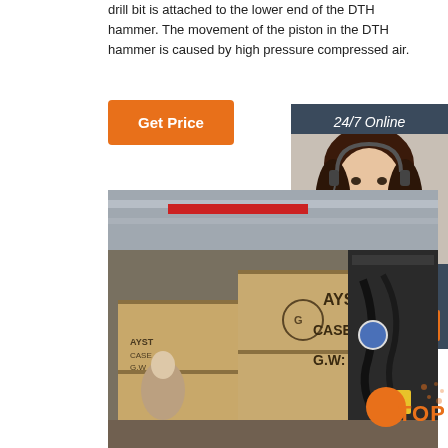drill bit is attached to the lower end of the DTH hammer. The movement of the piston in the DTH hammer is caused by high pressure compressed air.
[Figure (other): Orange 'Get Price' button]
[Figure (other): 24/7 Online chat widget with a woman wearing a headset, and a 'QUOTATION' button]
[Figure (photo): Factory interior showing AYST branded wooden crates and drilling equipment machinery]
[Figure (other): Orange TOP badge in the bottom right corner]